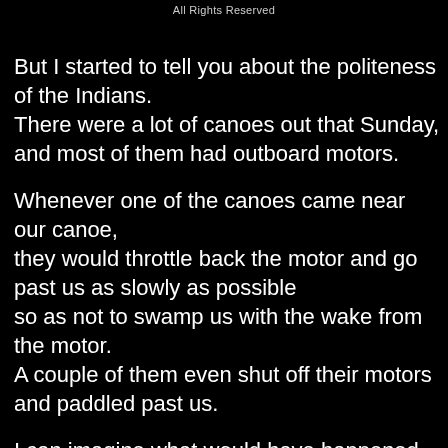All Rights Reserved
But I started to tell you about the politeness of the Indians.
There were a lot of canoes out that Sunday,
and most of them had outboard motors.
Whenever one of the canoes came near our canoe, they would throttle back the motor and go past us as slowly as possible
so as not to swamp us with the wake from the motor.
A couple of them even shut off their motors and paddled past us.
I can imagine what would have happened
if the canoes had been operated by white people,
especially teenagers.
The Indian teenagers were just as polite as their